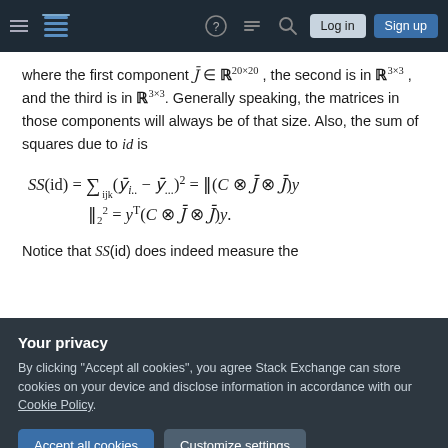Stack Exchange navigation bar with hamburger menu, logo, help, chat, search icons, Log in and Sign up buttons
where the first component J̄ ∈ ℝ^(20×20), the second is in ℝ^(3×3), and the third is in ℝ^(3×3). Generally speaking, the matrices in those components will always be of that size. Also, the sum of squares due to id is
Notice that SS(id) does indeed measure the
Your privacy
By clicking "Accept all cookies", you agree Stack Exchange can store cookies on your device and disclose information in accordance with our Cookie Policy.
code to give, for instance, the residual sum of